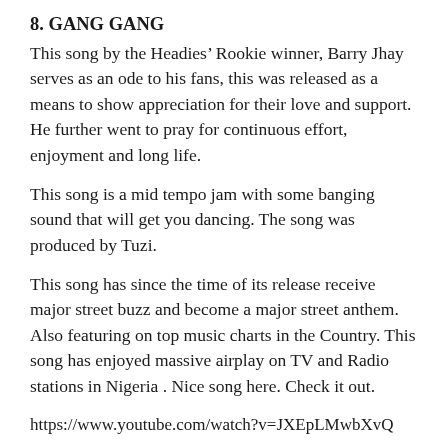8. GANG GANG
This song by the Headies’ Rookie winner, Barry Jhay serves as an ode to his fans, this was released as a means to show appreciation for their love and support. He further went to pray for continuous effort, enjoyment and long life.
This song is a mid tempo jam with some banging sound that will get you dancing. The song was produced by Tuzi.
This song has since the time of its release receive major street buzz and become a major street anthem. Also featuring on top music charts in the Country. This song has enjoyed massive airplay on TV and Radio stations in Nigeria . Nice song here. Check it out.
https://www.youtube.com/watch?v=JXEpLMwbXvQ